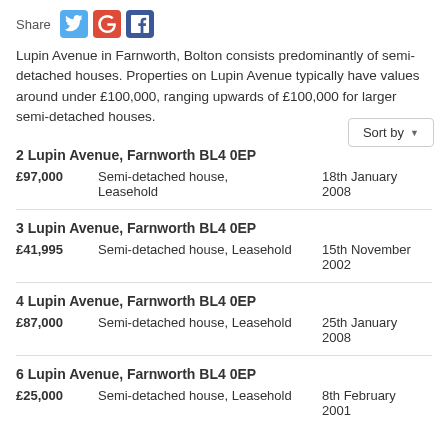[Figure (infographic): Share bar with Twitter, Google+, and Facebook icons]
Lupin Avenue in Farnworth, Bolton consists predominantly of semi-detached houses. Properties on Lupin Avenue typically have values around under £100,000, ranging upwards of £100,000 for larger semi-detached houses.
2 Lupin Avenue, Farnworth BL4 0EP — £97,000 — Semi-detached house, Leasehold — 18th January 2008
3 Lupin Avenue, Farnworth BL4 0EP — £41,995 — Semi-detached house, Leasehold — 15th November 2002
4 Lupin Avenue, Farnworth BL4 0EP — £87,000 — Semi-detached house, Leasehold — 25th January 2008
6 Lupin Avenue, Farnworth BL4 0EP — £25,000 — Semi-detached house, Leasehold — 8th February 2001